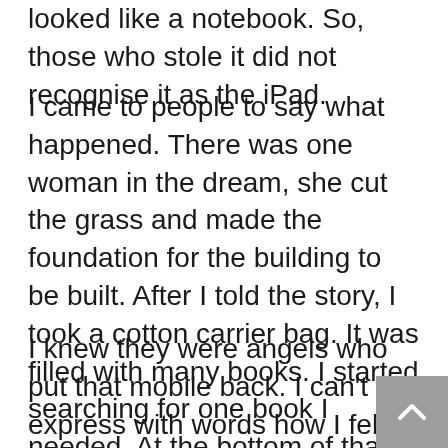looked like a notebook. So, those who stole it did not recognise it as the iPad.
I came to people to say what happened. There was one woman in the dream, she cut the grass and made the foundation for the building to be built. After I told the story, I took a cotton carrier bag. It was filled with many books. I started searching for one book I needed. At the bottom of that bag, there was… my mobile.
I knew they were angels who put that mobile back. I can't express with words how I felt. There was a presence of God. I was standing in wonder and felt being loved and not forgotten. I went and told others what had happened. All of them were marvelled by the